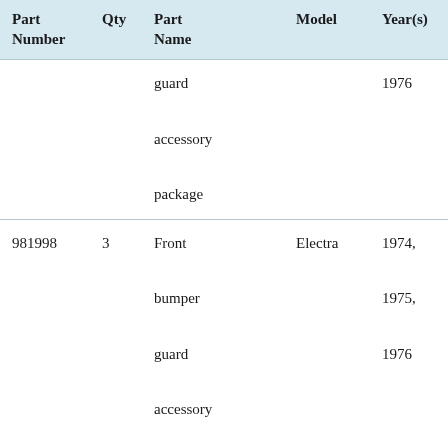| Part Number | Qty | Part Name | Model | Year(s) |
| --- | --- | --- | --- | --- |
|  |  | guard accessory package |  | 1976 |
| 981998 | 3 | Front bumper guard accessory package | Electra | 1974, 1975, 1976 |
| 981998 | 3 | Front bumper guard | LeSabre | 1974, 1975, 1976 |